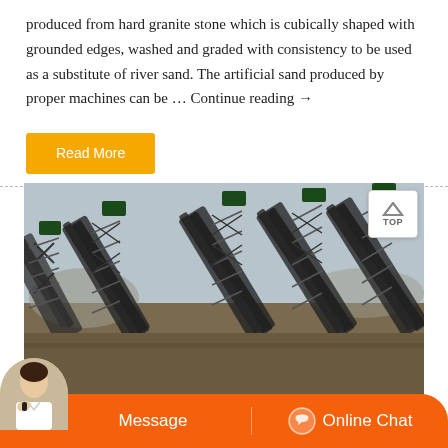produced from hard granite stone which is cubically shaped with grounded edges, washed and graded with consistency to be used as a substitute of river sand. The artificial sand produced by proper machines can be … Continue reading →
Read More
[Figure (photo): Aerial view of a large industrial conveyor belt system at a quarry or mining site, with multiple inclined conveyor belts and metal framework structures]
Message
Online Chat